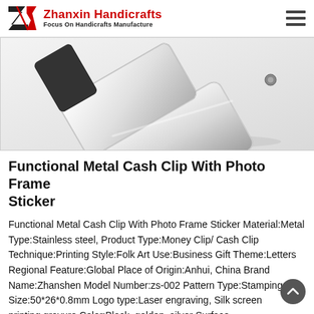Zhanxin Handicrafts — Focus On Handicrafts Manufacture
[Figure (photo): Close-up photo of a metal cash clip with photo frame sticker, showing silvery stainless steel clip from above at an angle.]
Functional Metal Cash Clip With Photo Frame Sticker
Functional Metal Cash Clip With Photo Frame Sticker Material:Metal Type:Stainless steel, Product Type:Money Clip/Cash Clip Technique:Printing Style:Folk Art Use:Business Gift Theme:Letters Regional Feature:Global Place of Origin:Anhui, China Brand Name:Zhanshen Model Number:zs-002 Pattern Type:Stamping die Size:50*26*0.8mm Logo type:Laser engraving, Silk screen printing,gravure Color:Black, golden, silver Surface treatment:shielding/Screw pldding, Sand...